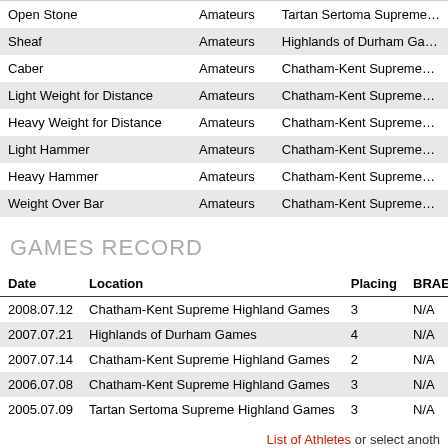| Event | Class | Sponsor |
| --- | --- | --- |
| Open Stone | Amateurs | Tartan Sertoma Supreme… |
| Sheaf | Amateurs | Highlands of Durham Ga… |
| Caber | Amateurs | Chatham-Kent Supreme… |
| Light Weight for Distance | Amateurs | Chatham-Kent Supreme… |
| Heavy Weight for Distance | Amateurs | Chatham-Kent Supreme… |
| Light Hammer | Amateurs | Chatham-Kent Supreme… |
| Heavy Hammer | Amateurs | Chatham-Kent Supreme… |
| Weight Over Bar | Amateurs | Chatham-Kent Supreme… |
GAMES RECORD
| Date | Location | Placing | BRAE | STO |
| --- | --- | --- | --- | --- |
| 2008.07.12 | Chatham-Kent Supreme Highland Games | 3 | N/A | 31'5 |
| 2007.07.21 | Highlands of Durham Games | 4 | N/A | 30'0 |
| 2007.07.14 | Chatham-Kent Supreme Highland Games | 2 | N/A | 30'4 |
| 2006.07.08 | Chatham-Kent Supreme Highland Games | 3 | N/A | 30'1 |
| 2005.07.09 | Tartan Sertoma Supreme Highland Games | 3 | N/A | 31'9 |
List of Athletes or select anoth